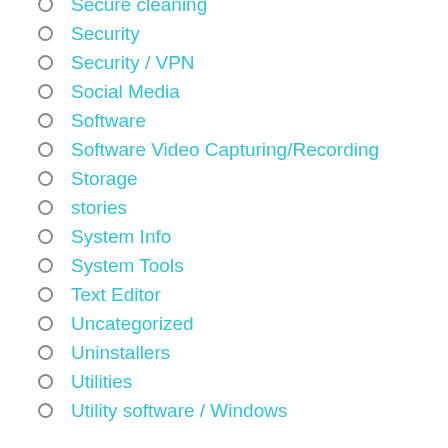Secure cleaning
Security
Security / VPN
Social Media
Software
Software Video Capturing/Recording
Storage
stories
System Info
System Tools
Text Editor
Uncategorized
Uninstallers
Utilities
Utility software / Windows